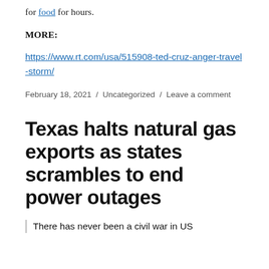for food for hours.
MORE:
https://www.rt.com/usa/515908-ted-cruz-anger-travel-storm/
February 18, 2021 / Uncategorized / Leave a comment
Texas halts natural gas exports as states scrambles to end power outages
There has never been a civil war in US